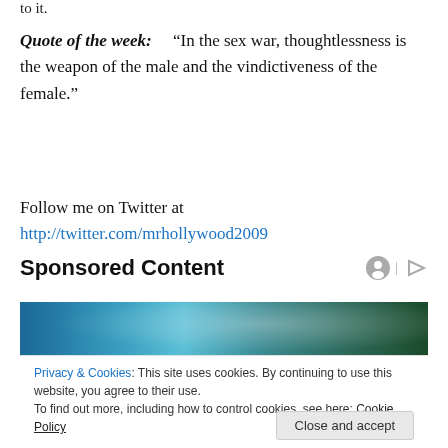to it.
Quote of the week: “In the sex war, thoughtlessness is the weapon of the male and the vindictiveness of the female.”
Follow me on Twitter at http://twitter.com/mrhollywood2009
Sponsored Content
[Figure (photo): Top portion of a food/recipe image with blue background and colorful vegetables/food items]
Privacy & Cookies: This site uses cookies. By continuing to use this website, you agree to their use.
To find out more, including how to control cookies, see here: Cookie Policy